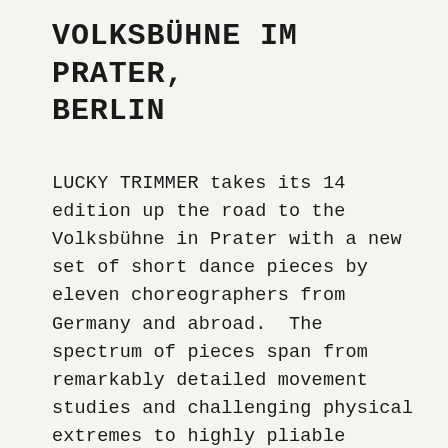VOLKSBÜHNE IM PRATER, BERLIN
LUCKY TRIMMER takes its 14 edition up the road to the Volksbühne in Prater with a new set of short dance pieces by eleven choreographers from Germany and abroad.  The spectrum of pieces span from remarkably detailed movement studies and challenging physical extremes to highly pliable performance allied with breakdance.  Additionally, there is tightly wound theatricality, absurd black comedy sketches as well as a loving